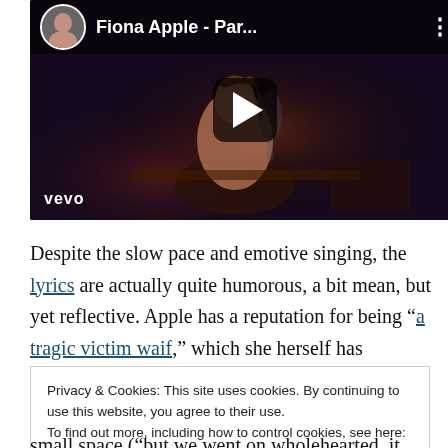[Figure (screenshot): YouTube/Vevo video thumbnail showing Fiona Apple - Par... with a play button overlay, avatar circle, title bar, and Vevo logo at bottom left.]
Despite the slow pace and emotive singing, the lyrics are actually quite humorous, a bit mean, but yet reflective. Apple has a reputation for being “a tragic victim waif,” which she herself has complained about. But lyrics like those in •“Parting Gift” demonstrate she’s much more
Privacy & Cookies: This site uses cookies. By continuing to use this website, you agree to their use.
To find out more, including how to control cookies, see here: Cookie Policy
[Close and accept]
small space (“but we went on wholehearted, it